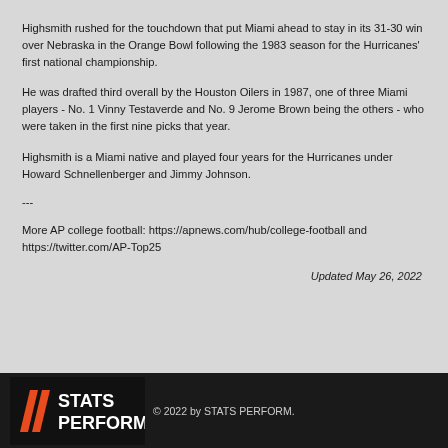Highsmith rushed for the touchdown that put Miami ahead to stay in its 31-30 win over Nebraska in the Orange Bowl following the 1983 season for the Hurricanes' first national championship.
He was drafted third overall by the Houston Oilers in 1987, one of three Miami players - No. 1 Vinny Testaverde and No. 9 Jerome Brown being the others - who were taken in the first nine picks that year.
Highsmith is a Miami native and played four years for the Hurricanes under Howard Schnellenberger and Jimmy Johnson.
---
More AP college football: https://apnews.com/hub/college-football and https://twitter.com/AP-Top25
Updated May 26, 2022
© 2022 by STATS PERFORM.